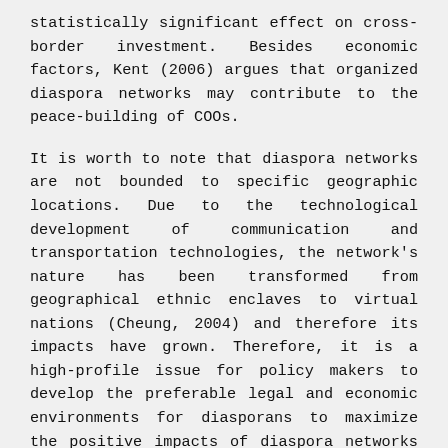statistically significant effect on cross-border investment. Besides economic factors, Kent (2006) argues that organized diaspora networks may contribute to the peace-building of COOs.
It is worth to note that diaspora networks are not bounded to specific geographic locations. Due to the technological development of communication and transportation technologies, the network's nature has been transformed from geographical ethnic enclaves to virtual nations (Cheung, 2004) and therefore its impacts have grown. Therefore, it is a high-profile issue for policy makers to develop the preferable legal and economic environments for diasporans to maximize the positive impacts of diaspora networks on their own countries. Some scholars have illuminated systematic and organized attempts of governments or municipalities to leverage diaspora resources. Taib et al. (2012) investigate Malaysian government programs to attract high skilled diaspora human resources to develop a cluster in comparison to the Taiwanese successful cluster Hsinchu. Kurnetsv and Sabel